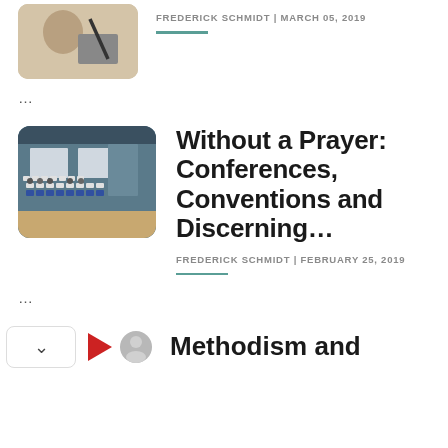[Figure (photo): Partial thumbnail image of article at top, cropped]
FREDERICK SCHMIDT | MARCH 05, 2019
...
[Figure (photo): Conference room with rows of chairs and projection screens]
Without a Prayer: Conferences, Conventions and Discerning...
FREDERICK SCHMIDT | FEBRUARY 25, 2019
...
Methodism and